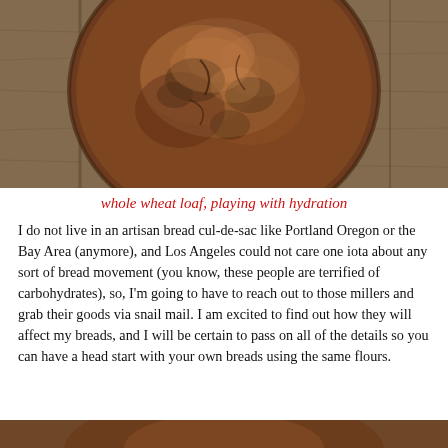[Figure (photo): Close-up overhead photo of a round whole wheat sourdough loaf on a wooden background. The crust is dark brown with rustic texture.]
whole wheat loaf, playing with hydration
I do not live in an artisan bread cul-de-sac like Portland Oregon or the Bay Area (anymore), and Los Angeles could not care one iota about any sort of bread movement (you know, these people are terrified of carbohydrates), so, I'm going to have to reach out to those millers and grab their goods via snail mail. I am excited to find out how they will affect my breads, and I will be certain to pass on all of the details so you can have a head start with your own breads using the same flours.
[Figure (photo): Partial view of another bread photo at the bottom of the page, cropped off.]